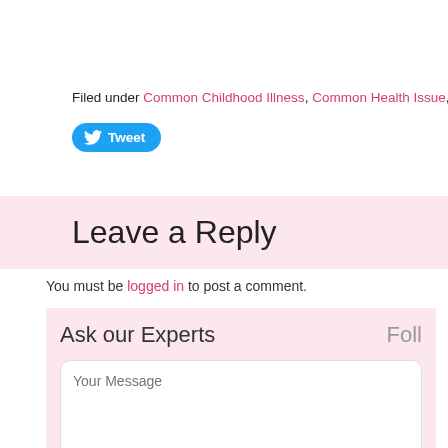Filed under Common Childhood Illness, Common Health Issue, From the…
[Figure (other): Twitter Tweet button (blue rounded button with bird icon and 'Tweet' label)]
Leave a Reply
You must be logged in to post a comment.
Ask our Experts
Foll
Your Message
Your Name
Your Email
Submit